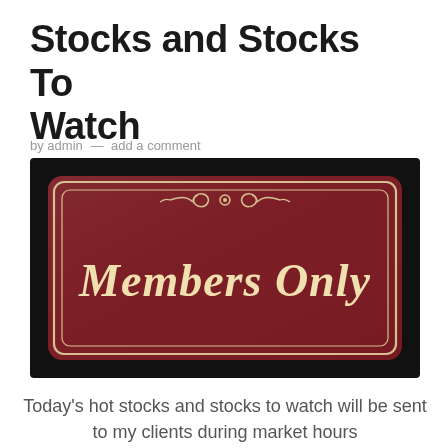Stocks and Stocks To Watch
by admin — add a comment
[Figure (illustration): A dark-background image showing a burgundy/dark-red rectangular sign with cream-colored border and decorative scrollwork at the top center, reading 'Members Only' in large cream serif font.]
Today's hot stocks and stocks to watch will be sent to my clients during market hours